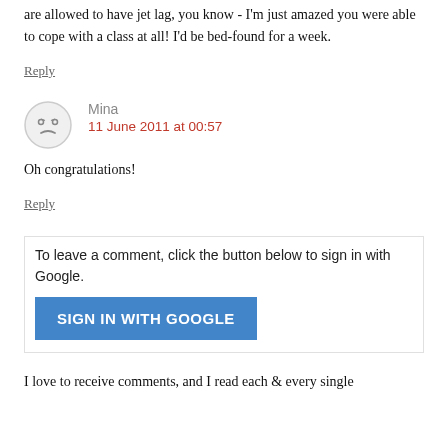are allowed to have jet lag, you know - I'm just amazed you were able to cope with a class at all! I'd be bed-found for a week.
Reply
Mina
11 June 2011 at 00:57
Oh congratulations!
Reply
To leave a comment, click the button below to sign in with Google.
SIGN IN WITH GOOGLE
I love to receive comments, and I read each & every single